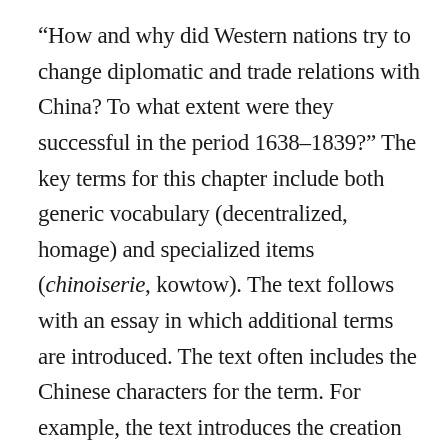“How and why did Western nations try to change diplomatic and trade relations with China? To what extent were they successful in the period 1638–1839?” The key terms for this chapter include both generic vocabulary (decentralized, homage) and specialized items (chinoiserie, kowtow). The text follows with an essay in which additional terms are introduced. The text often includes the Chinese characters for the term. For example, the text introduces the creation by Nurhaci in 1638 of the Office of Border Affairs and places both the Romanized Chinese name (Lifan Yuan) and the characters in parentheses. Later in the same essay, however, the text introduces the Canton System